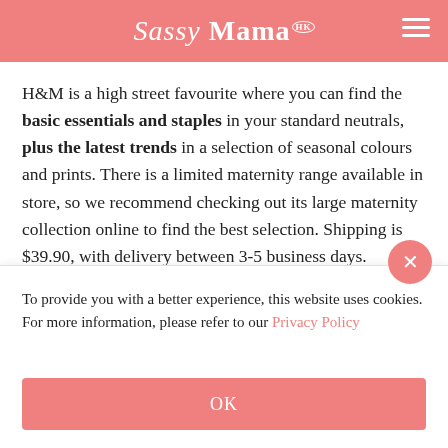Sassy Mama HK
H&M is a high street favourite where you can find the basic essentials and staples in your standard neutrals, plus the latest trends in a selection of seasonal colours and prints. There is a limited maternity range available in store, so we recommend checking out its large maternity collection online to find the best selection. Shipping is $39.90, with delivery between 3-5 business days.
H&M, www2.hm.com
To provide you with a better experience, this website uses cookies. For more information, please refer to our Privacy Policy
OK